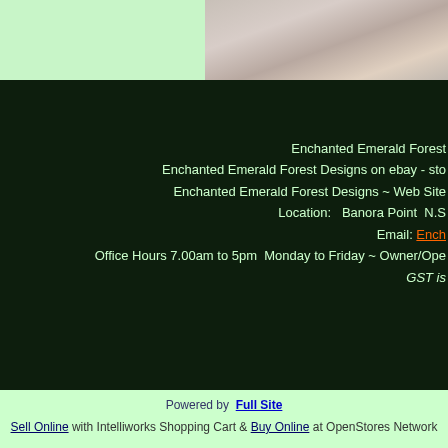[Figure (photo): Top banner with light green left panel and wedding/event photo on right showing people in formal attire with flowers]
Enchanted Emerald Forest
Enchanted Emerald Forest Designs on ebay - sto
Enchanted Emerald Forest Designs ~ Web Site
Location:   Banora Point  N.S
Email: Ench
Office Hours 7.00am to 5pm  Monday to Friday ~ Owner/Ope
GST is
Powered by Full Site
Sell Online with Intelliworks Shopping Cart & Buy Online at OpenStores Network